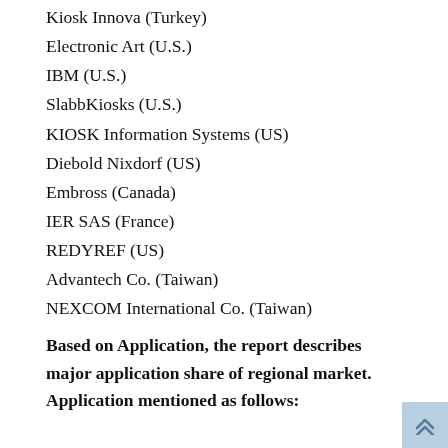Kiosk Innova (Turkey)
Electronic Art (U.S.)
IBM (U.S.)
SlabbKiosks (U.S.)
KIOSK Information Systems (US)
Diebold Nixdorf (US)
Embross (Canada)
IER SAS (France)
REDYREF (US)
Advantech Co. (Taiwan)
NEXCOM International Co. (Taiwan)
Based on Application, the report describes major application share of regional market. Application mentioned as follows: